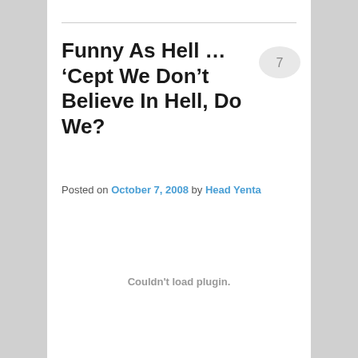Funny As Hell … ‘Cept We Don’t Believe In Hell, Do We?
[Figure (other): Speech bubble with number 7 indicating 7 comments]
Posted on October 7, 2008 by Head Yenta
Couldn't load plugin.